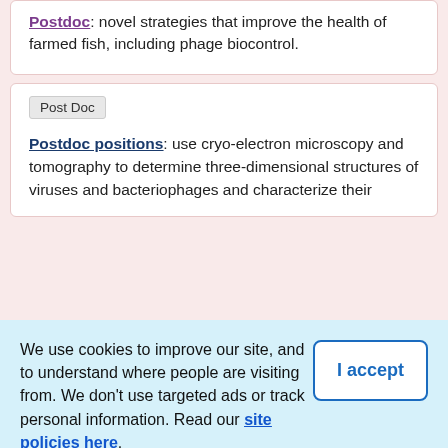Postdoc: novel strategies that improve the health of farmed fish, including phage biocontrol.
Post Doc
Postdoc positions: use cryo-electron microscopy and tomography to determine three-dimensional structures of viruses and bacteriophages and characterize their infection facilities.
We use cookies to improve our site, and to understand where people are visiting from. We don't use targeted ads or track personal information. Read our site policies here.